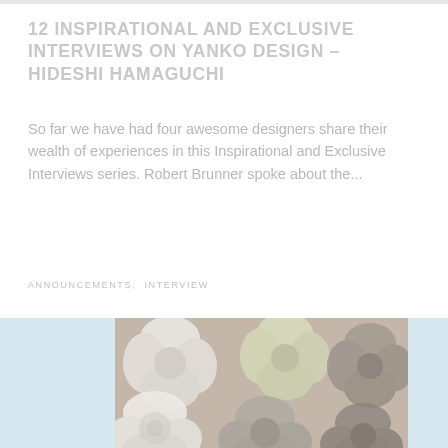12 INSPIRATIONAL AND EXCLUSIVE INTERVIEWS ON YANKO DESIGN – HIDESHI HAMAGUCHI
So far we have had four awesome designers share their wealth of experiences in this Inspirational and Exclusive Interviews series. Robert Brunner spoke about the...
ANNOUNCEMENTS, INTERVIEW
[Figure (photo): Blurred close-up photo of flower-shaped design objects or tiles in white, green/yellow, and dark gray/brown colors arranged in a pattern, displayed on a light blue background.]